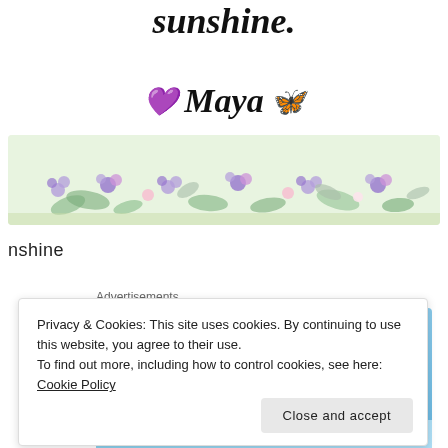sunshine.
💜 Maya 🦋
[Figure (illustration): Decorative floral/botanical banner strip with watercolor flowers in purple, lavender, pink and green foliage]
nshine
Advertisements
[Figure (screenshot): Advertisement banner: WORKS ON THE APP TOO! $39.99 a year or $4.99 a month with app icon and sparkle star]
Privacy & Cookies: This site uses cookies. By continuing to use this website, you agree to their use.
To find out more, including how to control cookies, see here: Cookie Policy
Close and accept
BROWSING